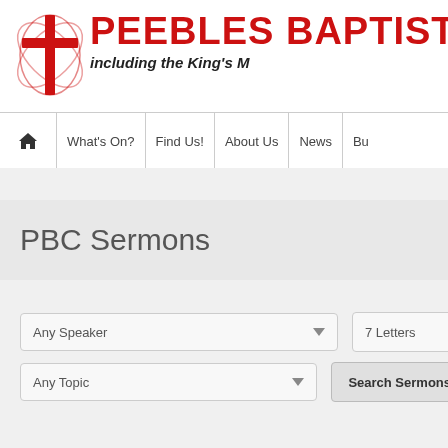[Figure (logo): Peebles Baptist Church logo with red cross and fish symbols]
PEEBLES BAPTIST CHU
including the King's M
Home | What's On? | Find Us! | About Us | News | Bu
PBC Sermons
Any Speaker
7 Letters
Any Topic
Search Sermons